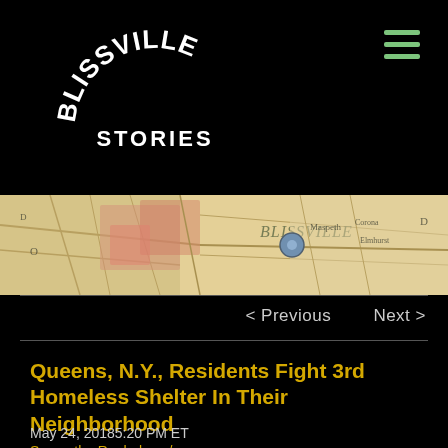BLISSVILLE STORIES
[Figure (map): Vintage map showing Blissville neighborhood area in Queens, NY with a location pin marker]
< Previous   Next >
Queens, N.Y., Residents Fight 3rd Homeless Shelter In Their Neighborhood
May 24, 20185:20 PM ET
Samantha Raphelson /